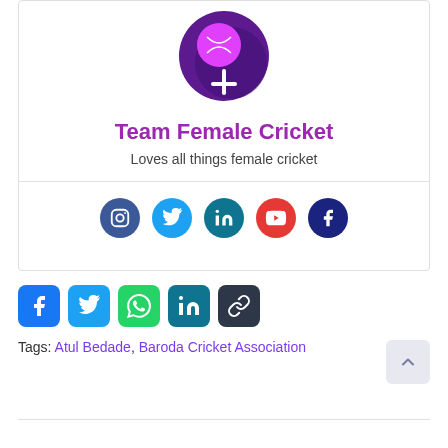[Figure (logo): Team Female Cricket logo: purple circle with a pink cricket ball and female gender symbol (cross) in white]
Team Female Cricket
Loves all things female cricket
[Figure (infographic): Social media icons row: Instagram (dark blue circle), Twitter (blue circle), LinkedIn (teal circle), YouTube (red circle), Facebook (dark blue circle)]
[Figure (infographic): Share buttons row: Facebook (blue rounded square), Twitter (blue rounded square), WhatsApp (green rounded square), LinkedIn (teal rounded square), Link/chain (dark rounded square)]
Tags: Atul Bedade, Baroda Cricket Association
Comparing Realistic paperial expertpaperwriter